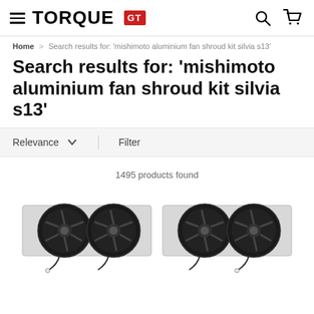TORQUE GT
Home > Search results for: 'mishimoto aluminium fan shroud kit silvia s13'
Search results for: 'mishimoto aluminium fan shroud kit silvia s13'
Relevance  Filter
1495 products found
[Figure (photo): Two Mishimoto aluminium fan shroud kits with dual black electric fans mounted on a silver aluminium shroud bracket, shown twice side by side as product images]
[Figure (photo): Second product image - another Mishimoto aluminium dual fan shroud kit identical to first listing]